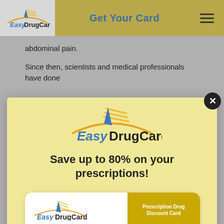Get Your Card
abdominal pain.
Since then, scientists and medical professionals have done
[Figure (logo): EasyDrugCard logo — blue italic 'Easy' and dark 'DrugCard' text with orange arc and gold speed lines above]
Save up to 80% on your prescriptions!
[Figure (illustration): EasyDrugCard prescription drug discount card showing Group ID: EDC6222, Member ID: 623394, and text 'Save up to 80% on prescriptions at over 65,000 pharmacies nationwide']